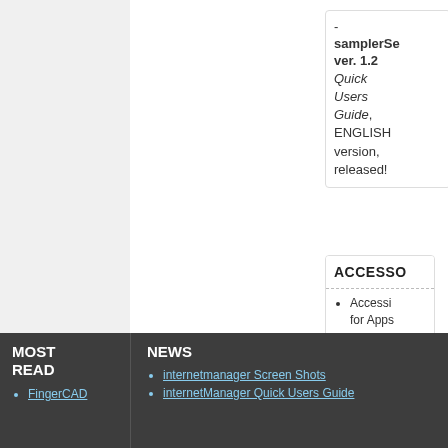- samplerServer ver. 1.2 Quick Users Guide, ENGLISH version, released!
ACCESSO
Accesso for Apps
MOST READ
FingerCAD
NEWS
internetmanager Screen Shots
internetManager Quick Users Guide